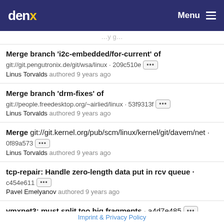denx Menu
Merge branch 'i2c-embedded/for-current' of git://git.pengutronix.de/git/wsa/linux · 209c510e ··· Linus Torvalds authored 9 years ago
Merge branch 'drm-fixes' of git://people.freedesktop.org/~airlied/linux · 53f9313f ··· Linus Torvalds authored 9 years ago
Merge git://git.kernel.org/pub/scm/linux/kernel/git/davem/net · 0f89a573 ··· Linus Torvalds authored 9 years ago
tcp-repair: Handle zero-length data put in rcv queue · c454e611 ··· Pavel Emelyanov authored 9 years ago
vmxnet3: must split too big fragments · a4d7e485 ···
Imprint & Privacy Policy